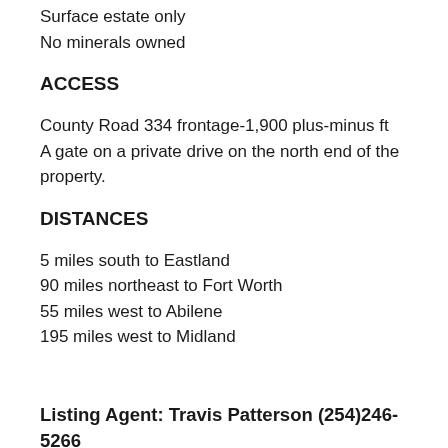Surface estate only
No minerals owned
ACCESS
County Road 334 frontage-1,900 plus-minus ft
A gate on a private drive on the north end of the property.
DISTANCES
5 miles south to Eastland
90 miles northeast to Fort Worth
55 miles west to Abilene
195 miles west to Midland
Listing Agent: Travis Patterson (254)246-5266